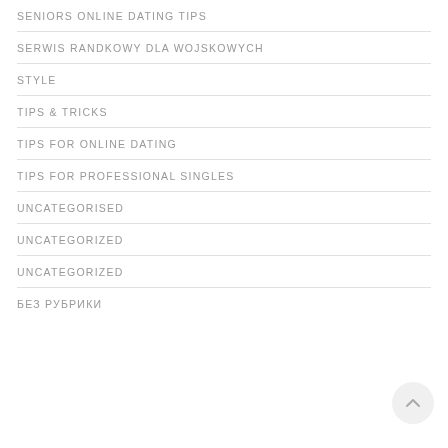SENIORS ONLINE DATING TIPS
SERWIS RANDKOWY DLA WOJSKOWYCH
STYLE
TIPS & TRICKS
TIPS FOR ONLINE DATING
TIPS FOR PROFESSIONAL SINGLES
UNCATEGORISED
UNCATEGORIZED
UNCATEGORIZED
БЕЗ РУБРИКИ